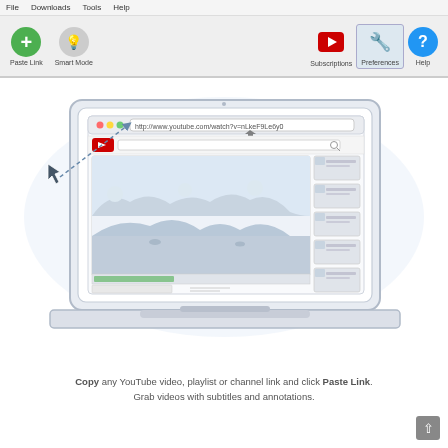File   Downloads   Tools   Help
[Figure (screenshot): Application toolbar showing Paste Link (green plus button), Smart Mode (lightbulb icon), Subscriptions (red YouTube icon), Preferences (wrench icon, highlighted), and Help (blue question mark) buttons]
[Figure (illustration): Illustration of a laptop showing a YouTube browser page with URL http://www.youtube.com/watch?v=nLkeF9Le6y0 in the address bar, video content area with landscape scene, and sidebar with video thumbnails. A dashed arrow points from outside the laptop to the browser address bar.]
Copy any YouTube video, playlist or channel link and click Paste Link. Grab videos with subtitles and annotations.